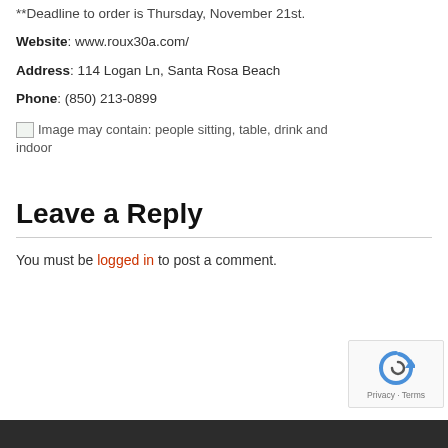**Deadline to order is Thursday, November 21st.
Website: www.roux30a.com/
Address: 114 Logan Ln, Santa Rosa Beach
Phone: (850) 213-0899
[Figure (photo): Image may contain: people sitting, table, drink and indoor]
Leave a Reply
You must be logged in to post a comment.